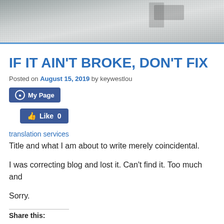[Figure (photo): Black and white header image showing an outdoor scene, partially visible at the top of the page.]
IF IT AIN'T BROKE, DON'T FIX
Posted on August 15, 2019 by keywestlou
My Page (Facebook page button)
Like 0 (Facebook like button)
translation services
Title and what I am about to write merely coincidental.
I was correcting blog and lost it. Can't find it. Too much and
Sorry.
Share this: